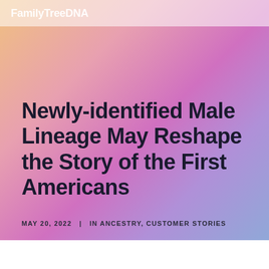FamilyTreeDNA
Newly-identified Male Lineage May Reshape the Story of the First Americans
MAY 20, 2022  |  IN ANCESTRY, CUSTOMER STORIES